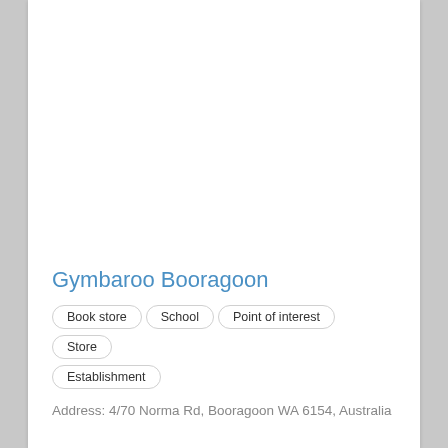Gymbaroo Booragoon
Book store
School
Point of interest
Store
Establishment
Address: 4/70 Norma Rd, Booragoon WA 6154, Australia